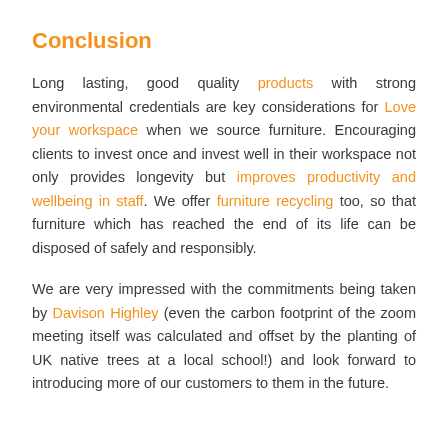Conclusion
Long lasting, good quality products with strong environmental credentials are key considerations for Love your workspace when we source furniture. Encouraging clients to invest once and invest well in their workspace not only provides longevity but improves productivity and wellbeing in staff. We offer furniture recycling too, so that furniture which has reached the end of its life can be disposed of safely and responsibly.
We are very impressed with the commitments being taken by Davison Highley (even the carbon footprint of the zoom meeting itself was calculated and offset by the planting of UK native trees at a local school!) and look forward to introducing more of our customers to them in the future.